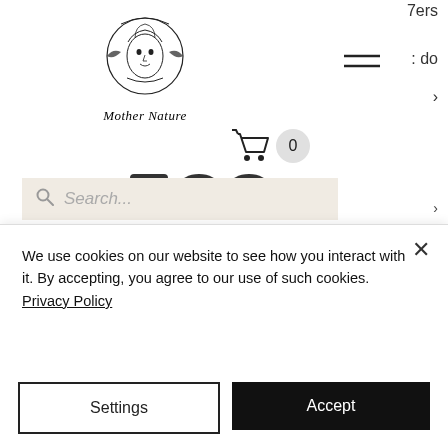[Figure (logo): Mother Nature logo with circular emblem showing a face with decorative elements and italic script text 'Mother Nature' below]
7ers
: do
nature itself. Nature makes you feel beautiful.
Check us out on Facebook :
We use cookies on our website to see how you interact with it. By accepting, you agree to our use of such cookies. Privacy Policy
Settings
Accept